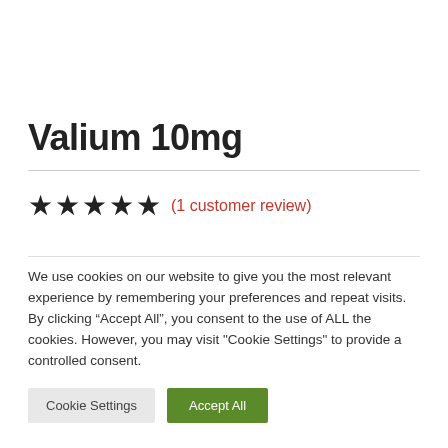Valium 10mg
(1 customer review)
We use cookies on our website to give you the most relevant experience by remembering your preferences and repeat visits. By clicking “Accept All”, you consent to the use of ALL the cookies. However, you may visit "Cookie Settings" to provide a controlled consent.